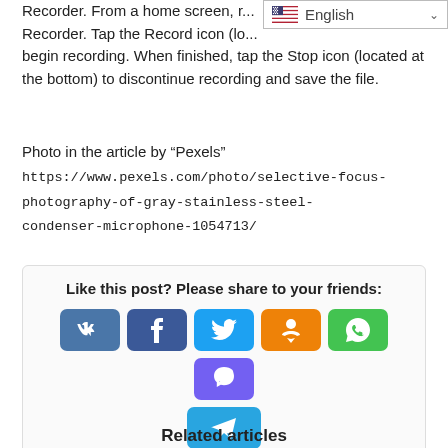Recorder. From a home screen, ... Recorder. Tap the Record icon (lo... begin recording. When finished, tap the Stop icon (located at the bottom) to discontinue recording and save the file.
Photo in the article by “Pexels” https://www.pexels.com/photo/selective-focus-photography-of-gray-stainless-steel-condenser-microphone-1054713/
[Figure (infographic): Share buttons box with label 'Like this post? Please share to your friends:' and social media buttons: VK, Facebook, Twitter, Odnoklassniki, WhatsApp, Viber, Telegram]
Related articles